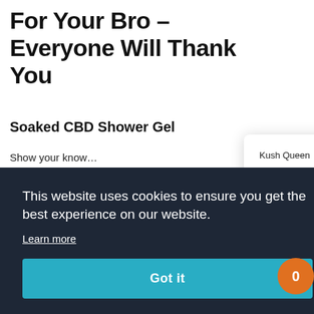For Your Bro – Everyone Will Thank You
Soaked CBD Shower Gel
Show your know… CBD. Soaked CB… nanotechnology… directly into your…
[Figure (screenshot): Chat popup from Kush Queen with message: Hello! Let us know if you have any questions! Powered by gorgias]
This website uses cookies to ensure you get the best experience on our website.
Learn more
Got it